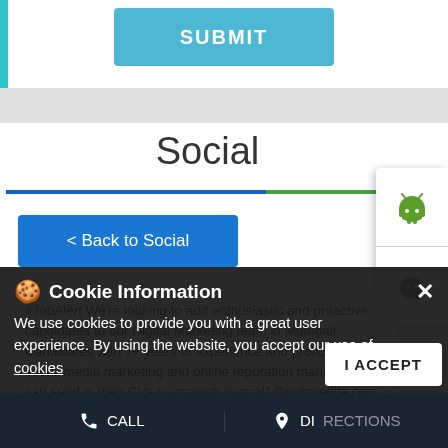[Figure (screenshot): SUBMIT button in teal/blue color at top of mobile web page]
Social
[Figure (screenshot): Android and iOS app download buttons on right side]
< Back to Social
#JobAlert We're looking to add enthusiastic and proactive candidates to our Digital Marketing team in Mumbai! Candidates with 7+ years of experience and proficiency in social media marketing and online reputation management can send in their CVs to- manish.nagpal1@pnbmetlife.com #marketing #digitalmarketing #digitalmarketing #seo #socialmediamarketing #team #management #sales #website, you can grow your skills #jobs #mumbai #recruiting #marketingjobs #jobsearch #PNBMetLife
Cookie Information
We use cookies to provide you with a great user experience. By using the website, you accept our use of cookies
I ACCEPT
CALL    DIRECTIONS